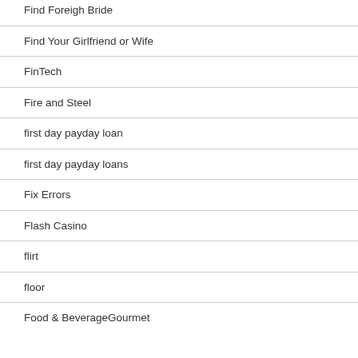Find Foreigh Bride
Find Your Girlfriend or Wife
FinTech
Fire and Steel
first day payday loan
first day payday loans
Fix Errors
Flash Casino
flirt
floor
Food & BeverageGourmet